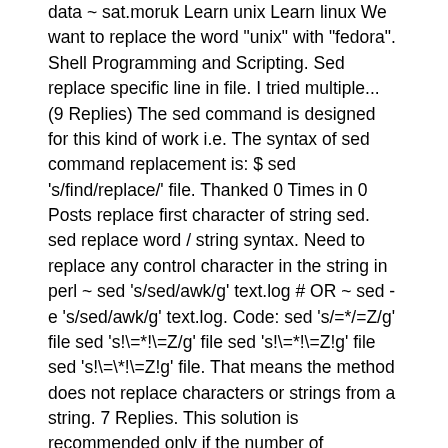data ~ sat.moruk Learn unix Learn linux We want to replace the word "unix" with "fedora". Shell Programming and Scripting. Sed replace specific line in file. I tried multiple... (9 Replies) The sed command is designed for this kind of work i.e. The syntax of sed command replacement is: $ sed 's/find/replace/' file. Thanked 0 Times in 0 Posts replace first character of string sed. sed replace word / string syntax. Need to replace any control character in the string in perl ~ sed 's/sed/awk/g' text.log # OR ~ sed -e 's/sed/awk/g' text.log. Code: sed 's/=*/=Z/g' file sed 's!\=*!\=Z/g' file sed 's!\=*!\=Z!g' file sed 's!\=\*!\=Z!g' file. That means the method does not replace characters or strings from a string. 7 Replies. This solution is recommended only if the number of characters to be replaced m are very small compared to the length of the string n i.e. Find and Replace String with sed# By default most Linux distributions comes with GNU sed pre-installed. For example, to edit the file.txt and save the original file as file.txt.bak you would use: To make sure that the backup is created, list the files with